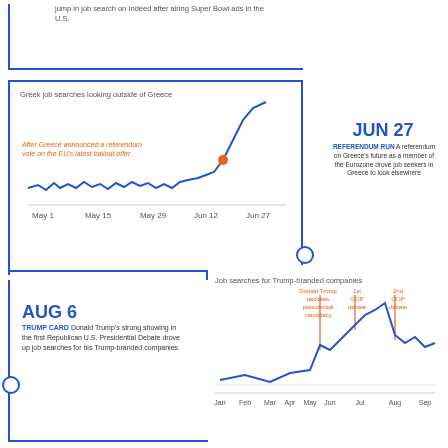jump in job search on Indeed after airing Super Bowl ads in the U.S.
Greek job searches looking outside of Greece
[Figure (line-chart): Greek job searches looking outside of Greece]
After Greece announced a referendum vote on the EU's latest bailout offer.
JUN 27
REFERENDUM RUN A referendum on Greece's future as a member of the Eurozone drove job seekers in Greece to look elsewhere
Job searches for Trump-branded companies
AUG 6
TRUMP CARD Donald Trump's strong showing in the first Republican U.S. Presidential Debate drove up job searches for his Trump-branded companies
[Figure (line-chart): Job searches for Trump-branded companies]